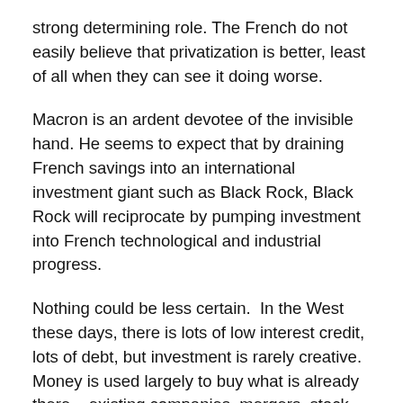strong determining role. The French do not easily believe that privatization is better, least of all when they can see it doing worse.
Macron is an ardent devotee of the invisible hand. He seems to expect that by draining French savings into an international investment giant such as Black Rock, Black Rock will reciprocate by pumping investment into French technological and industrial progress.
Nothing could be less certain.  In the West these days, there is lots of low interest credit, lots of debt, but investment is rarely creative. Money is used largely to buy what is already there – existing companies, mergers, stock trading (massive in the U.S.) and, for individuals, housing. Most foreign investment in France buys up things like vineyards or goes into safe infrastructure such as ports,